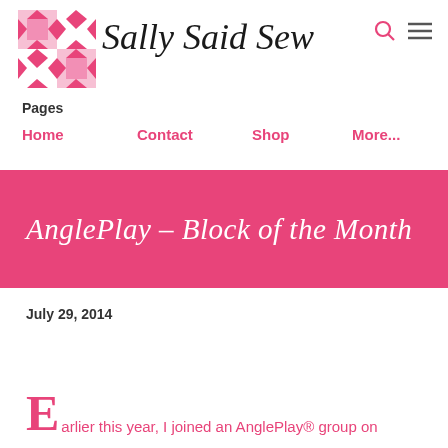Sally Said Sew
Pages
Home   Contact   Shop   More...
AnglePlay – Block of the Month
July 29, 2014
Earlier this year, I joined an AnglePlay® group on